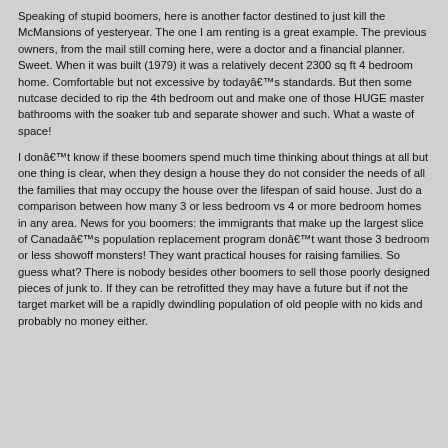Speaking of stupid boomers, here is another factor destined to just kill the McMansions of yesteryear. The one I am renting is a great example. The previous owners, from the mail still coming here, were a doctor and a financial planner. Sweet. When it was built (1979) it was a relatively decent 2300 sq ft 4 bedroom home. Comfortable but not excessive by todayâ€™s standards. But then some nutcase decided to rip the 4th bedroom out and make one of those HUGE master bathrooms with the soaker tub and separate shower and such. What a waste of space!
I donâ€™t know if these boomers spend much time thinking about things at all but one thing is clear, when they design a house they do not consider the needs of all the families that may occupy the house over the lifespan of said house. Just do a comparison between how many 3 or less bedroom vs 4 or more bedroom homes in any area. News for you boomers: the immigrants that make up the largest slice of Canadaâ€™s population replacement program donâ€™t want those 3 bedroom or less showoff monsters! They want practical houses for raising families. So guess what? There is nobody besides other boomers to sell those poorly designed pieces of junk to. If they can be retrofitted they may have a future but if not the target market will be a rapidly dwindling population of old people with no kids and probably no money either.